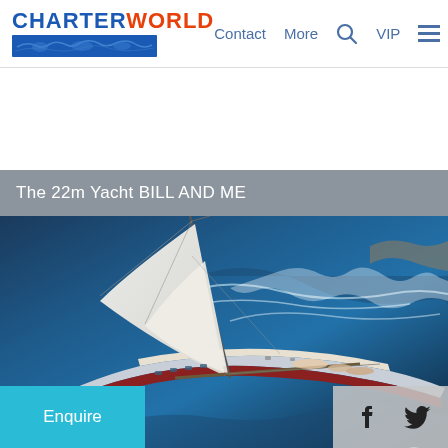CHARTERWORLD — Contact, More, VIP
The 22m Yacht BILL AND ME
[Figure (photo): Aerial view of the 22m sailing yacht BILL AND ME underway on blue ocean water with full sails deployed and guests visible on deck. A zoom/search icon overlay appears in the top right of the image.]
Enquire
f  (Twitter bird icon)